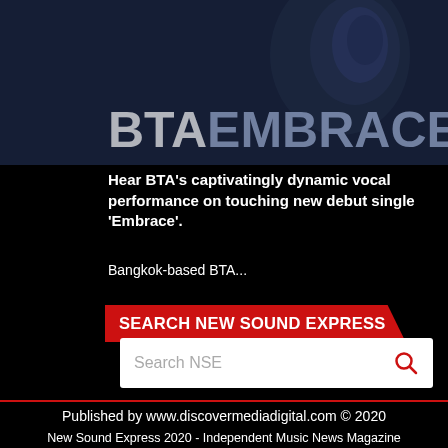[Figure (photo): Dark blue/black background with a partial face ear visible, overlaid with large text 'BTA EMBRACE' in white/grey tones]
Hear BTA’s captivatingly dynamic vocal performance on touching new debut single ‘Embrace’.
Bangkok-based BTA...
SEARCH NEW SOUND EXPRESS
Search NSE
Published by www.discovermediadigital.com © 2020
New Sound Express 2020 - Independent Music News Magazine - Powered by www.discovermediadigital.com